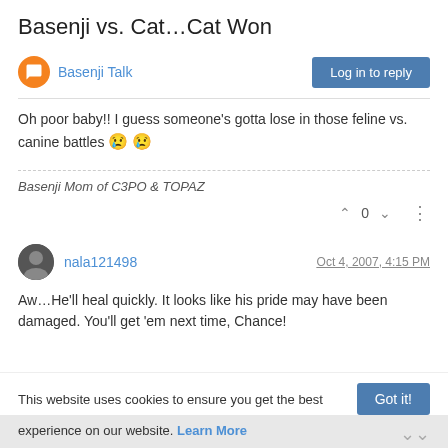Basenji vs. Cat…Cat Won
Basenji Talk
Oh poor baby!! I guess someone's gotta lose in those feline vs. canine battles 😢 😢
Basenji Mom of C3PO & TOPAZ
nala121498
Oct 4, 2007, 4:15 PM
Aw…He'll heal quickly. It looks like his pride may have been damaged. You'll get 'em next time, Chance!
This website uses cookies to ensure you get the best experience on our website. Learn More